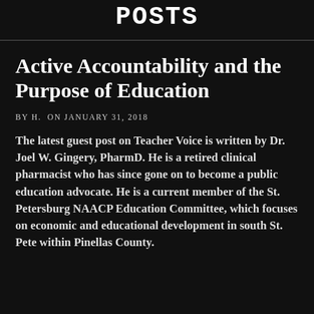POSTS
Active Accountability and the Purpose of Education
BY H. ON JANUARY 31, 2018
The latest guest post on Teacher Voice is written by Dr. Joel W. Gingery, PharmD. He is a retired clinical pharmacist who has since gone on to become a public education advocate. He is a current member of the St. Petersburg NAACP Education Committee, which focuses on economic and educational development in south St. Pete within Pinellas County.